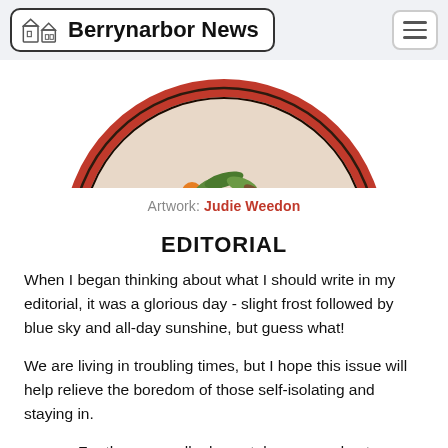Berrynarbor News
[Figure (illustration): Circular plate with autumn harvest design — orange berries, green and brown leaves, red berries on a cream background with a red border ring. Only the upper portion of the plate is visible (cropped).]
Artwork: Judie Weedon
EDITORIAL
When I began thinking about what I should write in my editorial, it was a glorious day - slight frost followed by blue sky and all-day sunshine, but guess what!
We are living in troubling times, but I hope this issue will help relieve the boredom of those self-isolating and staying in.
For those unwell, please take care and get